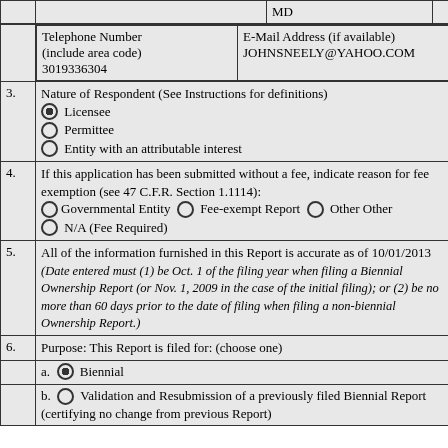|  | MD |  |
| Telephone Number (include area code)
3019336304 | E-Mail Address (if available)
JOHNSNEELY@YAHOO.COM |
| 3. | Nature of Respondent (See Instructions for definitions)
[selected] Licensee
[empty] Permittee
[empty] Entity with an attributable interest |
| 4. | If this application has been submitted without a fee, indicate reason for fee exemption (see 47 C.F.R. Section 1.1114):
[empty] Governmental Entity [empty] Fee-exempt Report [empty] Other Other
[empty] N/A (Fee Required) |
| 5. | All of the information furnished in this Report is accurate as of 10/01/2013
(Date entered must (1) be Oct. 1 of the filing year when filing a Biennial Ownership Report (or Nov. 1, 2009 in the case of the initial filing); or (2) be no more than 60 days prior to the date of filing when filing a non-biennial Ownership Report.) |
| 6. | Purpose: This Report is filed for: (choose one)
a. [selected] Biennial
b. [empty] Validation and Resubmission of a previously filed Biennial Report (certifying no change from previous Report) |